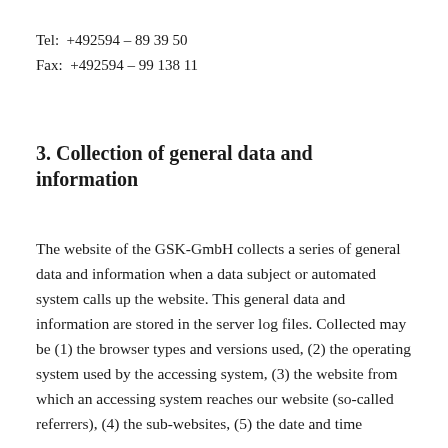Tel:  +492594 – 89 39 50
Fax:  +492594 – 99 138 11
3. Collection of general data and information
The website of the GSK-GmbH collects a series of general data and information when a data subject or automated system calls up the website. This general data and information are stored in the server log files. Collected may be (1) the browser types and versions used, (2) the operating system used by the accessing system, (3) the website from which an accessing system reaches our website (so-called referrers), (4) the sub-websites, (5) the date and time